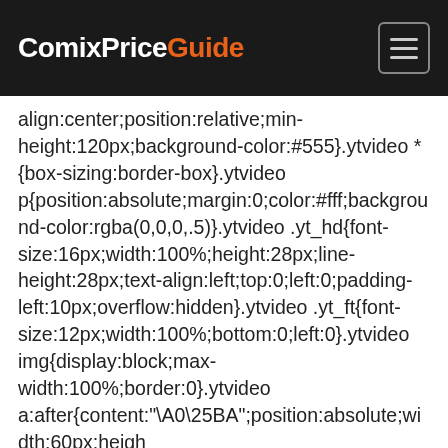ComixPriceGuide
align:center;position:relative;min-height:120px;background-color:#555}.ytvideo *{box-sizing:border-box}.ytvideo p{position:absolute;margin:0;color:#fff;background-color:rgba(0,0,0,.5)}.ytvideo .yt_hd{font-size:16px;width:100%;height:28px;line-height:28px;text-align:left;top:0;left:0;padding-left:10px;overflow:hidden}.ytvideo .yt_ft{font-size:12px;width:100%;bottom:0;left:0}.ytvideo img{display:block;max-width:100%;border:0}.ytvideo a:after{content:"\A0\25BA";position:absolute;width:60px;heigh radius:10px;color:#fff;background:rgba(0,0,0,.6);font-size:24px;line-height:50px;cursor:pointer}.ytvideo a:hover:after{background:#cc181e}.ytvideo .yt_inp{position:absolute;top:100%;left:0;width:100%;text-align:center;padding:.5em .2em;font-size:18px;border:0;color:#fff;background:rgba(0,0,0,.7}@me